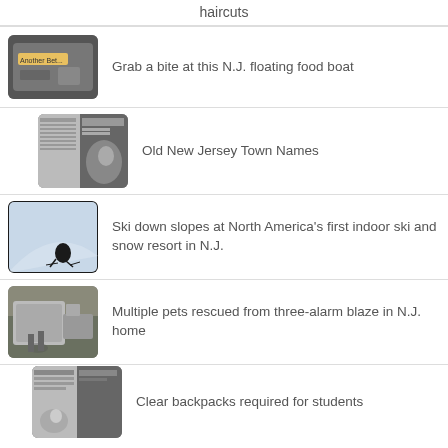haircuts
Grab a bite at this N.J. floating food boat
Old New Jersey Town Names
Ski down slopes at North America's first indoor ski and snow resort in N.J.
Multiple pets rescued from three-alarm blaze in N.J. home
Clear backpacks required for students